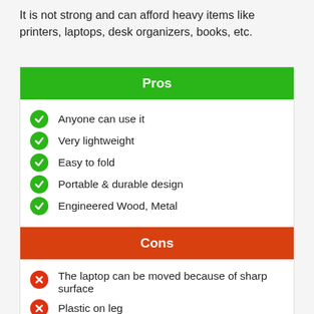It is not strong and can afford heavy items like printers, laptops, desk organizers, books, etc.
Pros
Anyone can use it
Very lightweight
Easy to fold
Portable & durable design
Engineered Wood, Metal
Cons
The laptop can be moved because of sharp surface
Plastic on leg